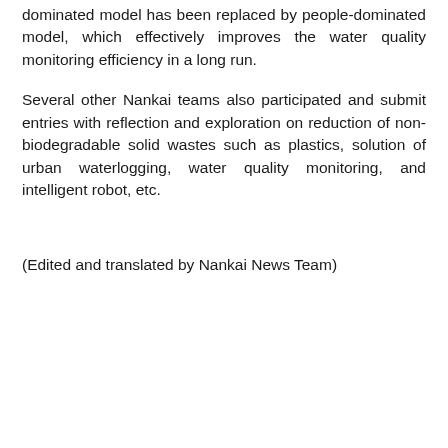dominated model has been replaced by people-dominated model, which effectively improves the water quality monitoring efficiency in a long run.
Several other Nankai teams also participated and submit entries with reflection and exploration on reduction of non-biodegradable solid wastes such as plastics, solution of urban waterlogging, water quality monitoring, and intelligent robot, etc.
(Edited and translated by Nankai News Team)